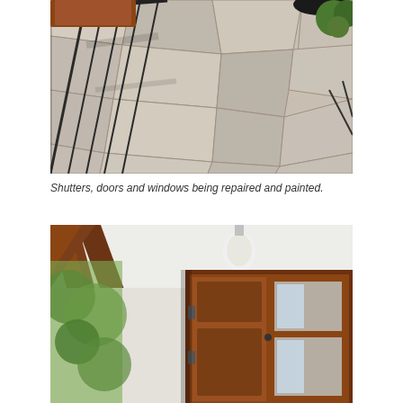[Figure (photo): Aerial view of stone flagstone patio with metal railing staircase and wooden furniture, showing irregular large stone tiles with mortar joints and surrounding greenery]
Shutters, doors and windows being repaired and painted.
[Figure (photo): Exterior entrance area showing wooden double doors with glass panels, white painted walls, wooden beam ceiling/overhead structure, and wall-mounted light fixture]